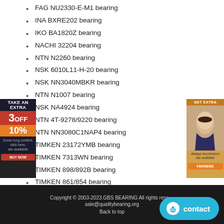FAG NU2330-E-M1 bearing
INA BXRE202 bearing
IKO BA1820Z bearing
NACHI 32204 bearing
NTN N2260 bearing
NSK 6010L11-H-20 bearing
NSK NN3040MBKR bearing
NTN N1007 bearing
NSK NA4924 bearing
NTN 4T-9278/9220 bearing
NTN NN3080C1NAP4 bearing
TIMKEN 23172YMB bearing
TIMKEN 7313WN bearing
TIMKEN 898/892B bearing
TIMKEN 861/854 bearing
TIMKEN 19150/19281 bearing
SKF NJ317ECM bearing
[Figure (infographic): Advertisement banner on left: red and orange discount offer showing 3OFF 10%]
[Figure (photo): Advertisement banner on right: woman's face promotional image]
Copyright © 2003-2023.GBS BEARING All rights reserved sale@qualitybearing.org Back to top